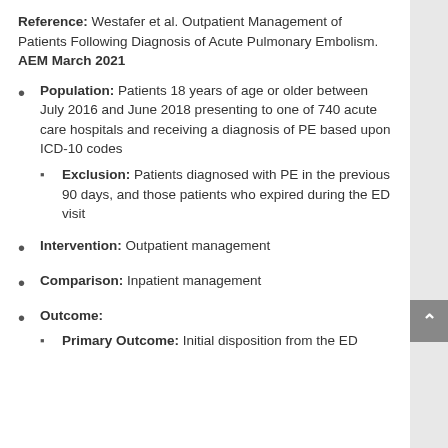Reference: Westafer et al. Outpatient Management of Patients Following Diagnosis of Acute Pulmonary Embolism. AEM March 2021
Population: Patients 18 years of age or older between July 2016 and June 2018 presenting to one of 740 acute care hospitals and receiving a diagnosis of PE based upon ICD-10 codes
Exclusion: Patients diagnosed with PE in the previous 90 days, and those patients who expired during the ED visit
Intervention: Outpatient management
Comparison: Inpatient management
Outcome:
Primary Outcome: Initial disposition from the ED